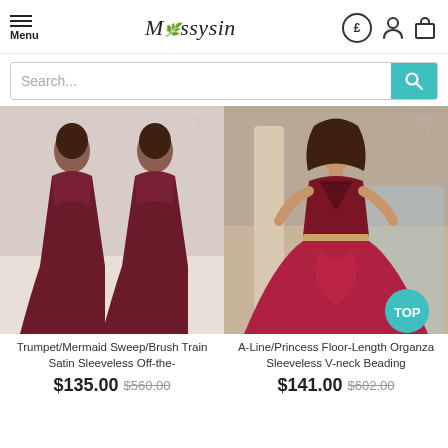Menu | Missysin | £ account cart
Search...
[Figure (photo): Two women wearing dark burgundy/maroon off-the-shoulder mermaid style gowns with sequin tops, floor-length with sweep train]
Trumpet/Mermaid Sweep/Brush Train Satin Sleeveless Off-the-
$135.00 $560.00
[Figure (photo): Woman wearing a burgundy/maroon A-line princess ball gown with deep V-neck, velvet bodice, and tulle skirt with beaded waistband, standing outdoors near fountain. TOP badge overlay.]
A-Line/Princess Floor-Length Organza Sleeveless V-neck Beading
$141.00 $602.00